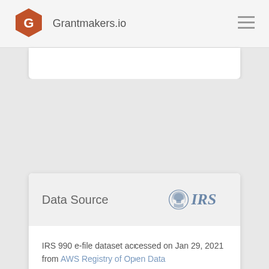Grantmakers.io
Data Source
IRS 990 e-file dataset accessed on Jan 29, 2021 from AWS Registry of Open Data